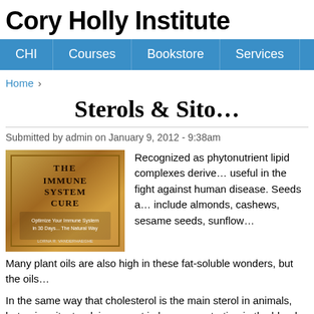Cory Holly Institute
CHI | Courses | Bookstore | Services | Memb
Home ›
Sterols & Sito…
Submitted by admin on January 9, 2012 - 9:38am
[Figure (photo): Book cover: The Immune System Cure]
Recognized as phytonutrient lipid complexes derived… useful in the fight against human disease. Seeds a… include almonds, cashews, sesame seeds, sunflow…
Many plant oils are also high in these fat-soluble wonders, but the oils…
In the same way that cholesterol is the main sterol in animals, beta-si… sitosterol, is present in low concentration in the blood of mammals. Ph… helping to maintain the immune system of the health-conscious natur…